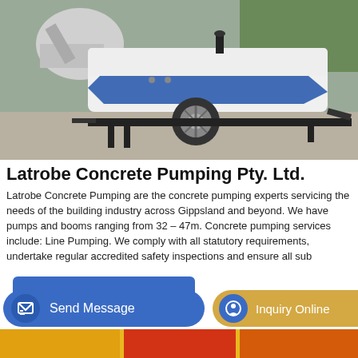[Figure (photo): Concrete pump truck on a trailer, white body with blue stripe, parked on gravel ground with grass in background]
Latrobe Concrete Pumping Pty. Ltd.
Latrobe Concrete Pumping are the concrete pumping experts servicing the needs of the building industry across Gippsland and beyond. We have pumps and booms ranging from 32 – 47m. Concrete pumping services include: Line Pumping. We comply with all statutory requirements, undertake regular accredited safety inspections and ensure all sub
GET A QUOTE
Send Message
Inquiry Online